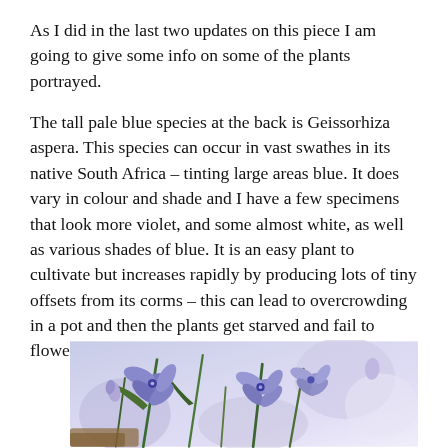As I did in the last two updates on this piece I am going to give some info on some of the plants portrayed.
The tall pale blue species at the back is Geissorhiza aspera. This species can occur in vast swathes in its native South Africa – tinting large areas blue. It does vary in colour and shade and I have a few specimens that look more violet, and some almost white, as well as various shades of blue. It is an easy plant to cultivate but increases rapidly by producing lots of tiny offsets from its corms – this can lead to overcrowding in a pot and then the plants get starved and fail to flower well.
[Figure (photo): Close-up photograph of purple/blue Geissorhiza aspera flowers with green stems, showing multiple blooms clustered together against a light background.]